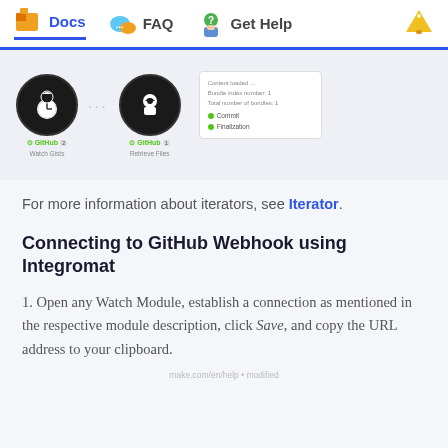Docs | FAQ | Get Help
[Figure (screenshot): Integromat workflow screenshot showing two GitHub modules (Watch Gists and Retrieve Files) connected with arrows, and a result panel showing Commit, Finalization steps]
For more information about iterators, see Iterator.
Connecting to GitHub Webhook using Integromat
1. Open any Watch Module, establish a connection as mentioned in the respective module description, click Save, and copy the URL address to your clipboard.
make.com/en/help • modified